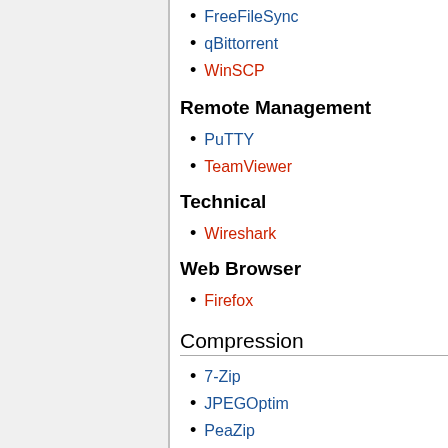FreeFileSync
qBittorrent
WinSCP
Remote Management
PuTTY
TeamViewer
Technical
Wireshark
Web Browser
Firefox
Compression
7-Zip
JPEGOptim
PeaZip
PNGOut